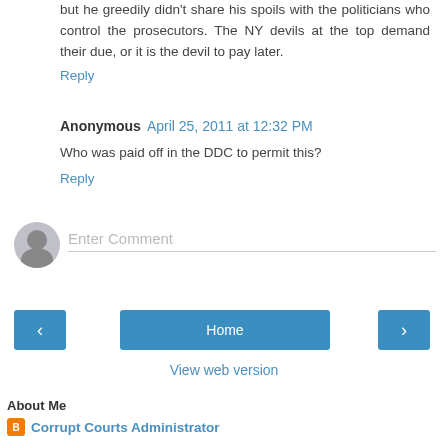but he greedily didn't share his spoils with the politicians who control the prosecutors. The NY devils at the top demand their due, or it is the devil to pay later.
Reply
Anonymous  April 25, 2011 at 12:32 PM
Who was paid off in the DDC to permit this?
Reply
Enter Comment
Home
View web version
About Me
Corrupt Courts Administrator